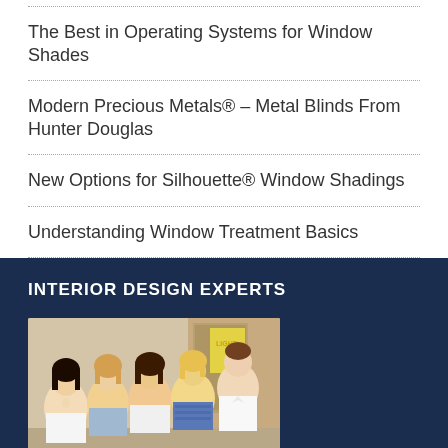The Best in Operating Systems for Window Shades
Modern Precious Metals® – Metal Blinds From Hunter Douglas
New Options for Silhouette® Window Shadings
Understanding Window Treatment Basics
INTERIOR DESIGN EXPERTS
[Figure (photo): Group photo of five interior design team members standing together indoors, with a window treatment display visible in the background.]